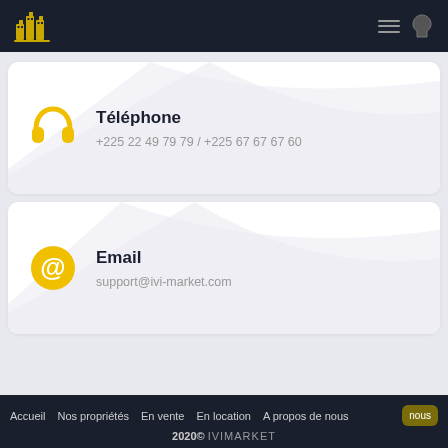[Figure (logo): IVI Market logo with golden building icon on dark navy header]
[Figure (infographic): Contact card with yellow headphones icon showing phone numbers]
Téléphone
+225 22 49 79 79 / +225 67 67 67 60
[Figure (infographic): Contact card with yellow @ icon showing email address]
Email
support@ivi-market.com
Accueil   Nos propriétés   En vente   En location   A propos de nous   2020© IVIMARKET